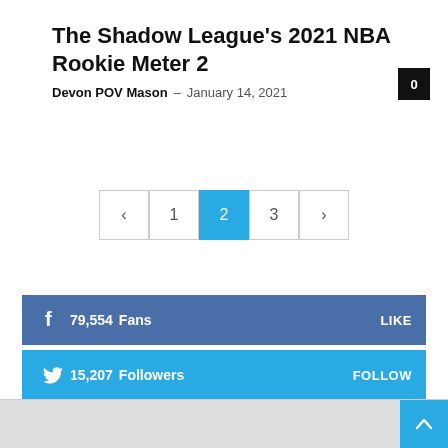The Shadow League's 2021 NBA Rookie Meter 2
Devon POV Mason – January 14, 2021
0
< 1 2 3 >
79,554  Fans  LIKE
15,207  Followers  FOLLOW
0  Subscribers  SUBSCRIBE